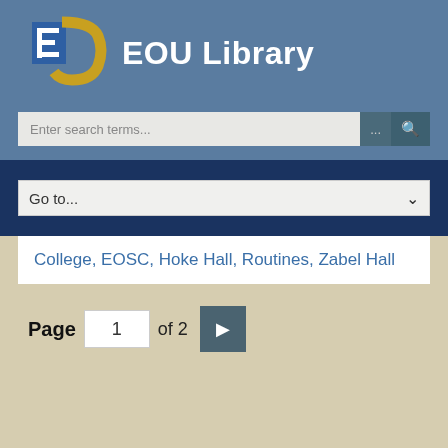[Figure (logo): EOU Library logo with stylized E and O letters in blue and gold, followed by the text 'EOU Library' in white on a steel blue background]
[Figure (screenshot): Search bar with placeholder 'Enter search terms...' and buttons for advanced search (...) and go (magnifying glass icon)]
[Figure (screenshot): Dropdown navigation select element labeled 'Go to...' on a dark navy background]
College, EOSC, Hoke Hall, Routines, Zabel Hall
Page 1 of 2